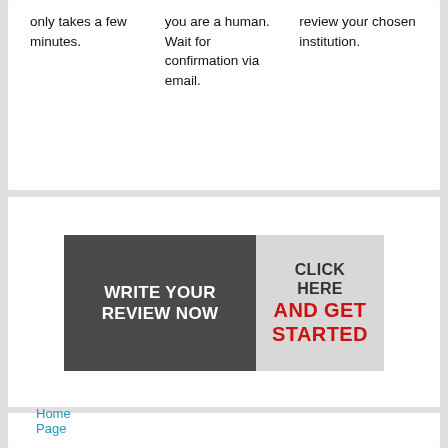only takes a few minutes.
you are a human. Wait for confirmation via email.
review your chosen institution.
[Figure (infographic): Call-to-action banner with dark grey left panel reading 'WRITE YOUR REVIEW NOW' in white bold text, and light grey right panel reading 'CLICK HERE AND GET STARTED' with 'AND GET STARTED' in red bold text.]
Home Page